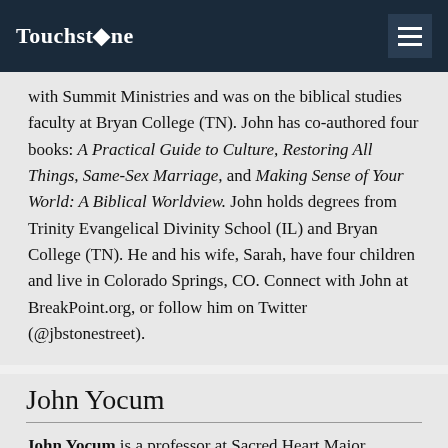Touchstone
with Summit Ministries and was on the biblical studies faculty at Bryan College (TN). John has co-authored four books: A Practical Guide to Culture, Restoring All Things, Same-Sex Marriage, and Making Sense of Your World: A Biblical Worldview. John holds degrees from Trinity Evangelical Divinity School (IL) and Bryan College (TN). He and his wife, Sarah, have four children and live in Colorado Springs, CO. Connect with John at BreakPoint.org, or follow him on Twitter (@jbstonestreet).
John Yocum
John Yocum is a professor at Sacred Heart Major Seminary, and a member of the Servants of the